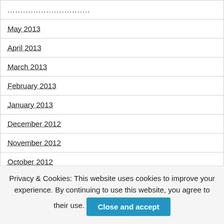…………………………………
May 2013
April 2013
March 2013
February 2013
January 2013
December 2012
November 2012
October 2012
Privacy & Cookies: This website uses cookies to improve your experience. By continuing to use this website, you agree to their use. Close and accept